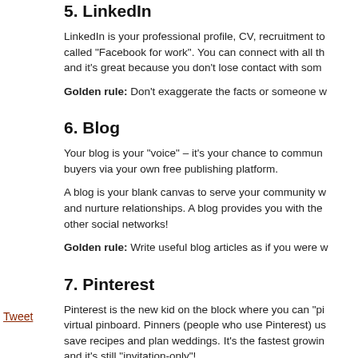5. LinkedIn
LinkedIn is your professional profile, CV, recruitment to called “Facebook for work”. You can connect with all th and it’s great because you don’t lose contact with som
Golden rule: Don’t exaggerate the facts or someone w
6. Blog
Your blog is your “voice” – it’s your chance to commun buyers via your own free publishing platform.
A blog is your blank canvas to serve your community w and nurture relationships. A blog provides you with the other social networks!
Golden rule: Write useful blog articles as if you were w
7. Pinterest
Pinterest is the new kid on the block where you can “pi virtual pinboard. Pinners (people who use Pinterest) us save recipes and plan weddings. It’s the fastest growin and it’s still “invitation-only”!
Golden rule: Give credit where it’s due and acknowled
Tweet